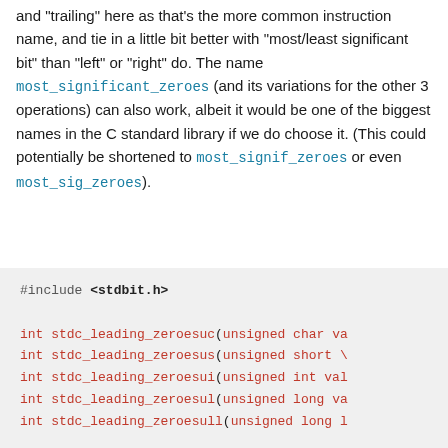and "trailing" here as that's the more common instruction name, and tie in a little bit better with "most/least significant bit" than "left" or "right" do. The name most_significant_zeroes (and its variations for the other 3 operations) can also work, albeit it would be one of the biggest names in the C standard library if we do choose it. (This could potentially be shortened to most_signif_zeroes or even most_sig_zeroes).
[Figure (screenshot): Code block showing #include <stdbit.h> and function declarations for stdc_leading_zeroes variants (uc, us, ui, ul, ull) and stdc_leading_ones variants (uc, us)]